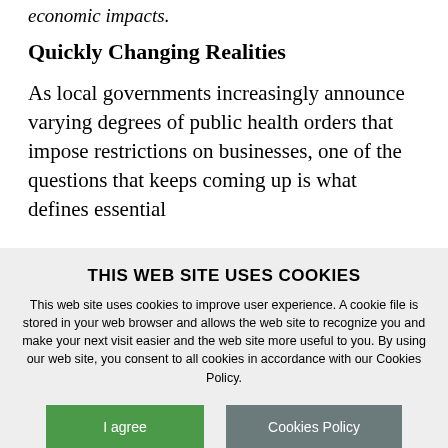economic impacts.
Quickly Changing Realities
As local governments increasingly announce varying degrees of public health orders that impose restrictions on businesses, one of the questions that keeps coming up is what defines essential
THIS WEB SITE USES COOKIES
This web site uses cookies to improve user experience. A cookie file is stored in your web browser and allows the web site to recognize you and make your next visit easier and the web site more useful to you. By using our web site, you consent to all cookies in accordance with our Cookies Policy.
I agree
Cookies Policy